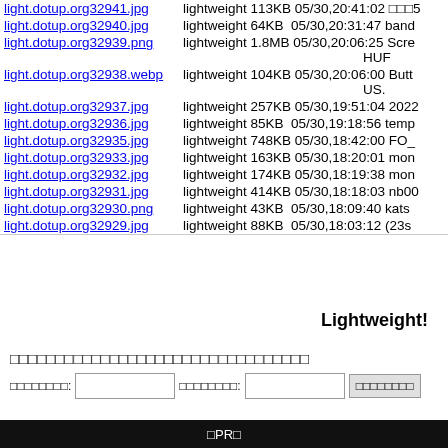light.dotup.org32941.jpg  lightweight 113KB 05/30,20:41:02 □□□5
light.dotup.org32940.jpg  lightweight 64KB  05/30,20:31:47 band
light.dotup.org32939.png  lightweight 1.8MB 05/30,20:06:25 Scre HUF
light.dotup.org32938.webp lightweight 104KB 05/30,20:06:00 Butt US.
light.dotup.org32937.jpg  lightweight 257KB 05/30,19:51:04 2022
light.dotup.org32936.jpg  lightweight 85KB  05/30,19:18:56 temp
light.dotup.org32935.jpg  lightweight 748KB 05/30,18:42:00 FO_
light.dotup.org32933.jpg  lightweight 163KB 05/30,18:20:01 mon
light.dotup.org32932.jpg  lightweight 174KB 05/30,18:19:38 mon
light.dotup.org32931.jpg  lightweight 414KB 05/30,18:18:03 nb00
light.dotup.org32930.png  lightweight 43KB  05/30,18:09:40 kats
light.dotup.org32929.jpg  lightweight 88KB  05/30,18:03:12 (23s
Lightweight!
□□□□□□□□□□□□□□□□□□□□□□□□□□□□□□□□□
□□□□□□□□: [input] □□□□□□□□: [input] □□□□□□□□
□PR□